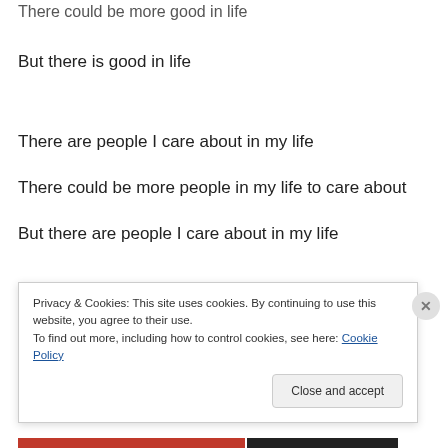There could be more good in life
But there is good in life
There are people I care about in my life
There could be more people in my life to care about
But there are people I care about in my life
Privacy & Cookies: This site uses cookies. By continuing to use this website, you agree to their use. To find out more, including how to control cookies, see here: Cookie Policy